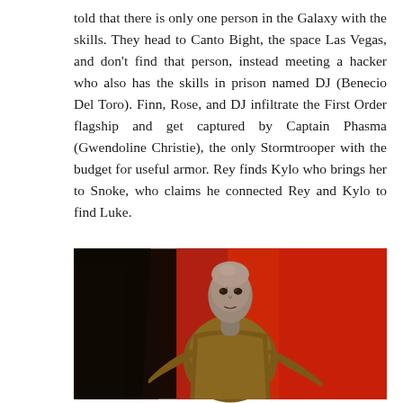told that there is only one person in the Galaxy with the skills. They head to Canto Bight, the space Las Vegas, and don't find that person, instead meeting a hacker who also has the skills in prison named DJ (Benecio Del Toro). Finn, Rose, and DJ infiltrate the First Order flagship and get captured by Captain Phasma (Gwendoline Christie), the only Stormtrooper with the budget for useful armor. Rey finds Kylo who brings her to Snoke, who claims he connected Rey and Kylo to find Luke.
[Figure (photo): A movie still showing Supreme Leader Snoke, a pale disfigured alien creature in a gold robe, seated on a throne against a red background.]